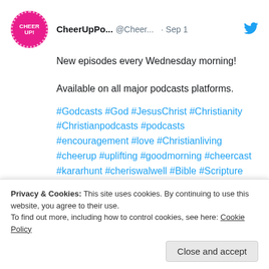[Figure (screenshot): Twitter/social media post from CheerUpPo... @Cheer... dated Sep 1, with a pink circular avatar logo saying CHEER UP!, a blue Twitter bird icon, tweet text about new episodes every Wednesday morning, available on all major podcasts platforms, followed by hashtags in blue: #Godcasts #God #JesusChrist #Christianity #Christianpodcasts #podcasts #encouragement #love #Christianliving #cheerup #uplifting #goodmorning #cheercast #kararhunt #cheriswalwell #Bible #Scripture, and a partial media preview image showing 'cheercast' in red italic text]
Privacy & Cookies: This site uses cookies. By continuing to use this website, you agree to their use.
To find out more, including how to control cookies, see here: Cookie Policy
Close and accept